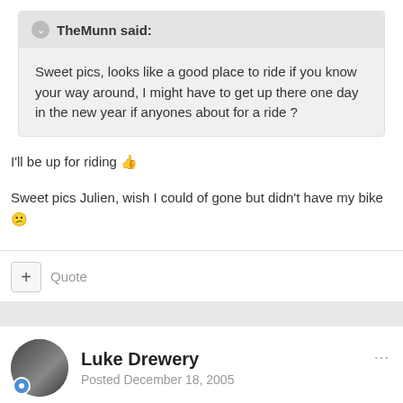TheMunn said:
Sweet pics, looks like a good place to ride if you know your way around, I might have to get up there one day in the new year if anyones about for a ride ?
I'll be up for riding 👍
Sweet pics Julien, wish I could of gone but didn't have my bike 😕
Quote
Luke Drewery
Posted December 18, 2005